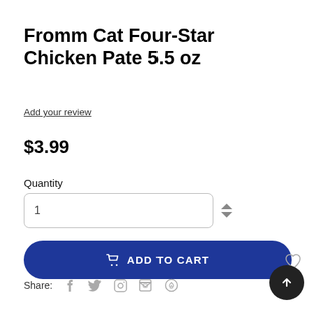Fromm Cat Four-Star Chicken Pate 5.5 oz
Add your review
$3.99
Quantity
ADD TO CART
Share: